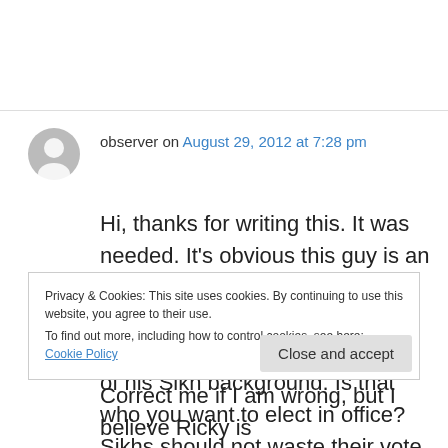observer on August 29, 2012 at 7:28 pm
Hi, thanks for writing this. It was needed. It's obvious this guy is an opportunist. If he is soliciting Sikhs outside of his district for money yet he feels embarrassed of his Sikh background. Is that who you want to elect in office? Sikhs should not waste their vote or hard earned money on him. Make your vote count.
Privacy & Cookies: This site uses cookies. By continuing to use this website, you agree to their use.
To find out more, including how to control cookies, see here: Cookie Policy
Close and accept
Correct me if I am wrong, but I believe Ricky is